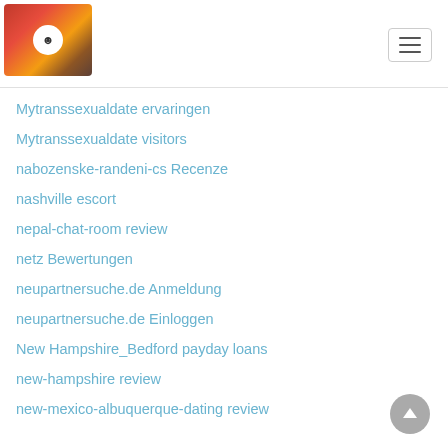Website navigation header with logo and hamburger menu
Mytranssexualdate ervaringen
Mytranssexualdate visitors
nabozenske-randeni-cs Recenze
nashville escort
nepal-chat-room review
netz Bewertungen
neupartnersuche.de Anmeldung
neupartnersuche.de Einloggen
New Hampshire_Bedford payday loans
new-hampshire review
new-mexico-albuquerque-dating review